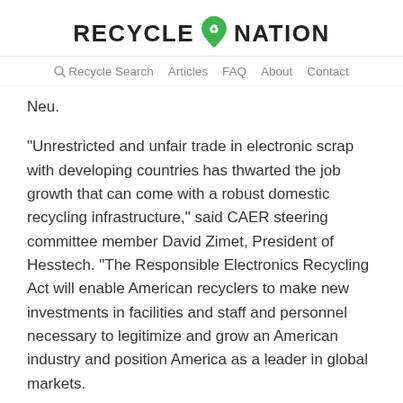RECYCLE NATION
Recycle Search  Articles  FAQ  About  Contact
Neu.
“Unrestricted and unfair trade in electronic scrap with developing countries has thwarted the job growth that can come with a robust domestic recycling infrastructure,” said CAER steering committee member David Zimet, President of Hesstech. “The Responsible Electronics Recycling Act will enable American recyclers to make new investments in facilities and staff and personnel necessary to legitimize and grow an American industry and position America as a leader in global markets.